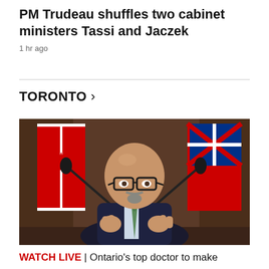PM Trudeau shuffles two cabinet ministers Tassi and Jaczek
1 hr ago
TORONTO >
[Figure (photo): A bald man with glasses and a goatee, wearing a dark suit with a green tie, gesturing with both hands at a press conference podium. Canadian flags and an Ontario flag are visible in the background.]
WATCH LIVE | Ontario's top doctor to make